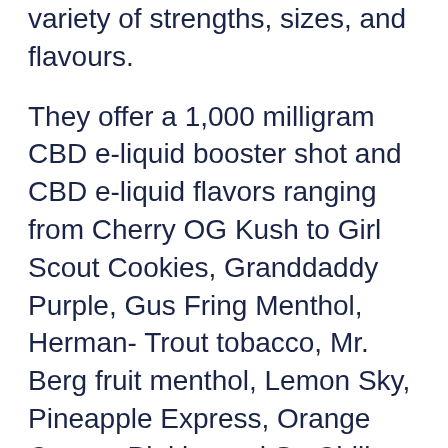variety of strengths, sizes, and flavours.
They offer a 1,000 milligram CBD e-liquid booster shot and CBD e-liquid flavors ranging from Cherry OG Kush to Girl Scout Cookies, Granddaddy Purple, Gus Fring Menthol, Herman- Trout tobacco, Mr. Berg fruit menthol, Lemon Sky, Pineapple Express, Orange Cream, Pinkie, and So Chill SOL.
The strengths of all of these e-liquids range from 1500 mg to 2500 mg making it easy